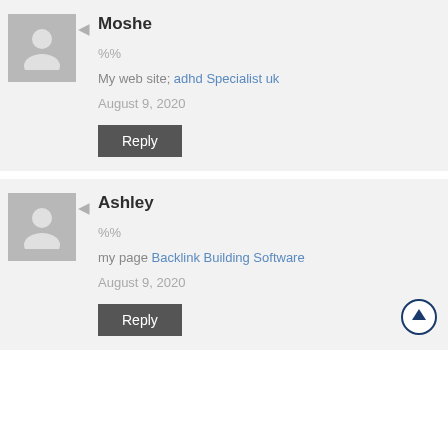Moshe
%%
My web site; adhd Specialist uk
August 9, 2020
Reply
Ashley
%%
my page Backlink Building Software
August 9, 2020
Reply